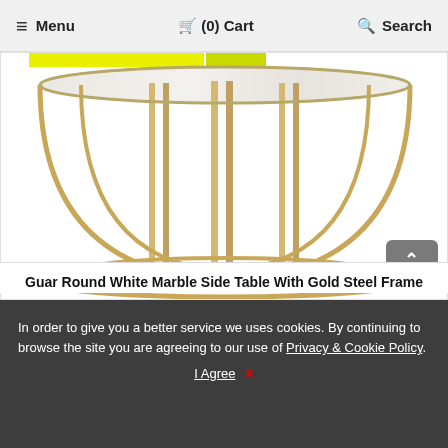≡ Menu    🛒 (0) Cart    🔍 Search
[Figure (photo): A round side table with a white marble top and a gold-colored cylindrical steel frame with vertical bars, photographed against a white background. A yellow accent is visible at the top left corner.]
Guar Round White Marble Side Table With Gold Steel Frame
In order to give you a better service we uses cookies. By continuing to browse the site you are agreeing to our use of Privacy & Cookie Policy. I Agree  X